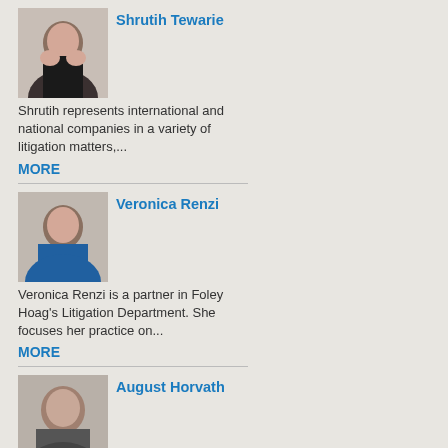[Figure (photo): Headshot photo of Shrutih Tewarie]
Shrutih Tewarie
Shrutih represents international and national companies in a variety of litigation matters,...
MORE
[Figure (photo): Headshot photo of Veronica Renzi]
Veronica Renzi
Veronica Renzi is a partner in Foley Hoag's Litigation Department. She focuses her practice on...
MORE
[Figure (photo): Headshot photo of August Horvath]
August Horvath
August Horvath, a partner in Foley Hoag's Advertising & Marketing practice, is a noted...
MORE
[Figure (photo): Headshot photo of Leah Rizkallah]
Leah Rizkallah
Leah Rizkallah is an associate in Foley Hoag's Litigation Department. Her practice includes general...
MORE
[Figure (photo): Partial headshot photo of Luciano Racco]
Luciano Racco